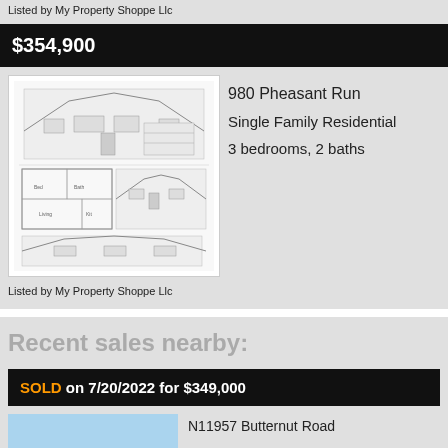Listed by My Property Shoppe Llc
$354,900
[Figure (illustration): Architectural floor plan and elevation drawings of a single-family home]
980 Pheasant Run
Single Family Residential
3 bedrooms, 2 baths
Listed by My Property Shoppe Llc
Recent sales nearby:
SOLD on 7/20/2022 for $349,000
N11957 Butternut Road